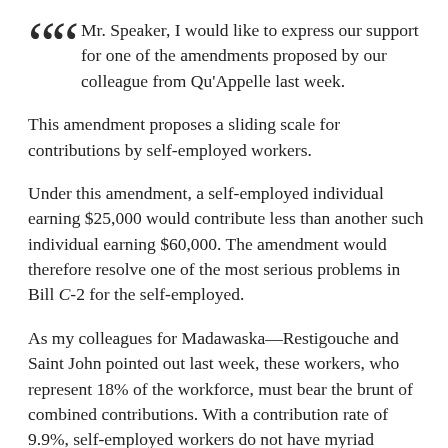Mr. Speaker, I would like to express our support for one of the amendments proposed by our colleague from Qu'Appelle last week.
This amendment proposes a sliding scale for contributions by self-employed workers.
Under this amendment, a self-employed individual earning $25,000 would contribute less than another such individual earning $60,000. The amendment would therefore resolve one of the most serious problems in Bill C-2 for the self-employed.
As my colleagues for Madawaska—Restigouche and Saint John pointed out last week, these workers, who represent 18% of the workforce, must bear the brunt of combined contributions. With a contribution rate of 9.9%, self-employed workers do not have myriad calculations to